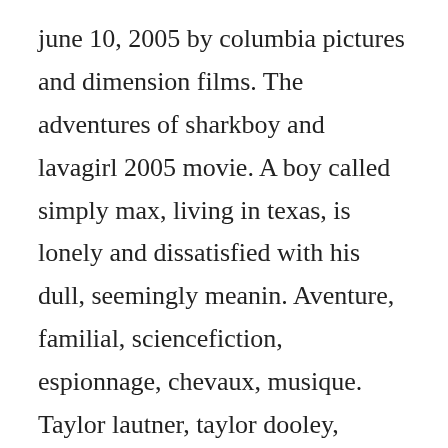june 10, 2005 by columbia pictures and dimension films. The adventures of sharkboy and lavagirl 2005 movie. A boy called simply max, living in texas, is lonely and dissatisfied with his dull, seemingly meanin. Aventure, familial, sciencefiction, espionnage, chevaux, musique. Taylor lautner, taylor dooley, cayden boyd, kristin davis, george lopez, david arquette, rocket. Pdf download the adventures of sharkboy and lavagirl movie storybook pdf full ebook. The adventures of sharkboy and lavagirl in 3d 2005 film. The adventures of sharkboy and lavagirl 3d film...